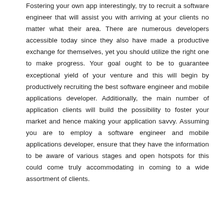Fostering your own app interestingly, try to recruit a software engineer that will assist you with arriving at your clients no matter what their area. There are numerous developers accessible today since they also have made a productive exchange for themselves, yet you should utilize the right one to make progress. Your goal ought to be to guarantee exceptional yield of your venture and this will begin by productively recruiting the best software engineer and mobile applications developer. Additionally, the main number of application clients will build the possibility to foster your market and hence making your application savvy. Assuming you are to employ a software engineer and mobile applications developer, ensure that they have the information to be aware of various stages and open hotspots for this could come truly accommodating in coming to a wide assortment of clients.